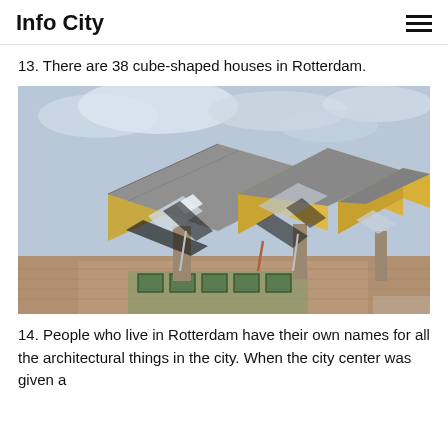Info City
13. There are 38 cube-shaped houses in Rotterdam.
[Figure (photo): Photograph of Rotterdam cube houses (Kubuswoningen) - yellow cubic structures tilted at 45 degrees on tall concrete pillars, with grey metallic roof panels and windows on the angled faces, against a cloudy sky. Lower portion shows brick base buildings with green-framed windows.]
14. People who live in Rotterdam have their own names for all the architectural things in the city. When the city center was given a